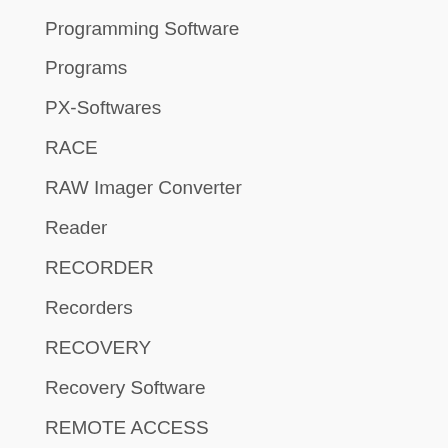Programming Software
Programs
PX-Softwares
RACE
RAW Imager Converter
Reader
RECORDER
Recorders
RECOVERY
Recovery Software
REMOTE ACCESS